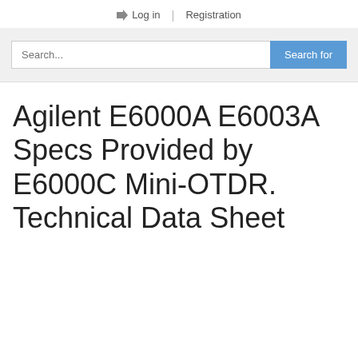Log in | Registration
[Figure (screenshot): Search bar with text input placeholder 'Search...' and a blue 'Search for' button]
Agilent E6000A E6003A Specs Provided by E6000C Mini-OTDR. Technical Data Sheet